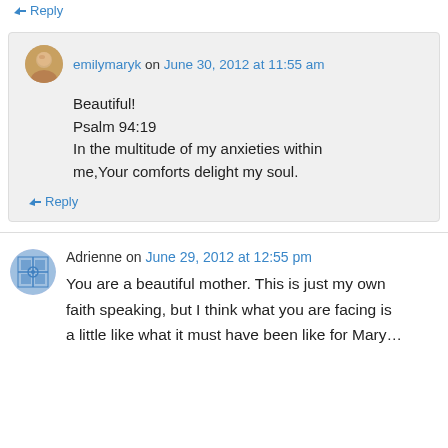↳ Reply
emilymaryk on June 30, 2012 at 11:55 am
Beautiful!
Psalm 94:19
In the multitude of my anxieties within me,Your comforts delight my soul.
↳ Reply
Adrienne on June 29, 2012 at 12:55 pm
You are a beautiful mother. This is just my own faith speaking, but I think what you are facing is a little like what it must have been like for Mary…